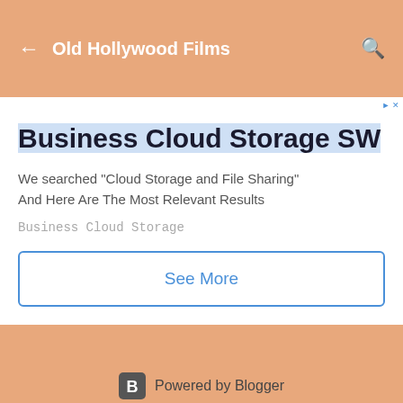← Old Hollywood Films
Business Cloud Storage SW
We searched "Cloud Storage and File Sharing" And Here Are The Most Relevant Results
Business Cloud Storage
See More
Powered by Blogger